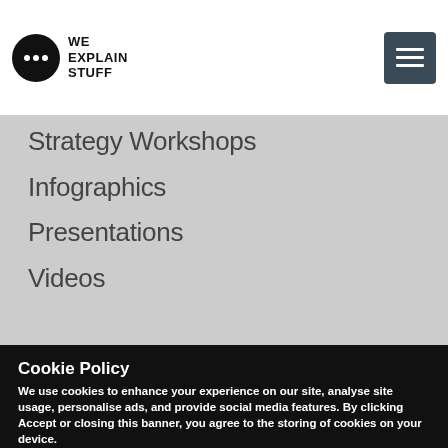[Figure (logo): We Explain Stuff logo — black speech bubble with three white dots, beside bold text 'WE EXPLAIN STUFF']
Strategy Workshops
Infographics
Presentations
Videos
Cookie Policy
We use cookies to enhance your experience on our site, analyse site usage, personalise ads, and provide social media features. By clicking Accept or closing this banner, you agree to the storing of cookies on your device. View our Cookie Policy.
Accept All